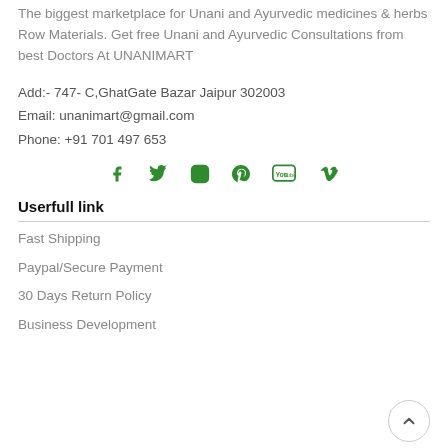The biggest marketplace for Unani and Ayurvedic medicines & herbs Row Materials. Get free Unani and Ayurvedic Consultations from best Doctors At UNANIMART
Add:- 747- C,GhatGate Bazar Jaipur 302003
Email: unanimart@gmail.com
Phone: +91 701 497 653
[Figure (infographic): Social media icons: Facebook, Twitter, Instagram, Pinterest, YouTube, Vimeo — all in green]
Userfull link
Fast Shipping
Paypal/Secure Payment
30 Days Return Policy
Business Development